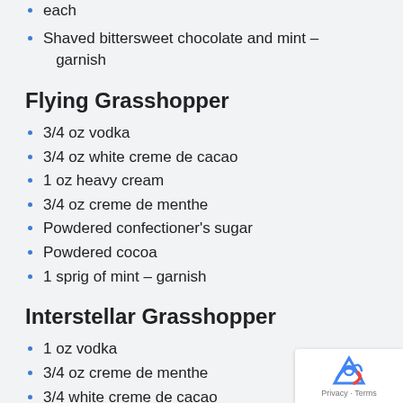each
Shaved bittersweet chocolate and mint – garnish
Flying Grasshopper
3/4 oz vodka
3/4 oz white creme de cacao
1 oz heavy cream
3/4 oz creme de menthe
Powdered confectioner's sugar
Powdered cocoa
1 sprig of mint – garnish
Interstellar Grasshopper
1 oz vodka
3/4 oz creme de menthe
3/4 white creme de cacao